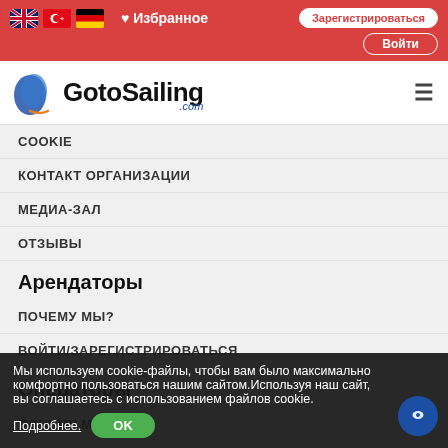Избранное | Зарегистрироваться | Войти
[Figure (logo): GotoSailing.com logo with sailing boat icon]
COOKIE
КОНТАКТ ОРГАНИЗАЦИИ
МЕДИА-ЗАЛ
ОТЗЫВЫ
Арендаторы
ПОЧЕМУ МЫ?
ВОЙТИ/ЗАРЕГИСТРИРОВАТЬСЯ
Операторы
ПОЧЕМУ МЫ?
Подпишись на лучшие предложения и много другие
Мы используем cookie-файлы, чтобы вам было максимально комфортно пользоваться нашим сайтом. Используя наш сайт, вы соглашаетесь с использованием файлов cookie.
Подробнее. OK